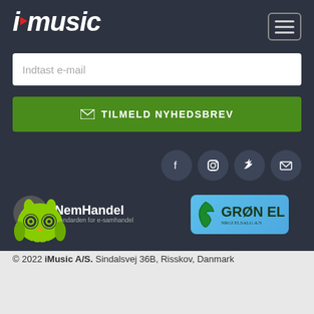[Figure (logo): iMusic logo with italic white text and red play button triangle above the letter i]
[Figure (other): Hamburger menu button (three horizontal lines) in a rounded rectangle border]
Indtast e-mail
[Figure (other): Green button with envelope icon and text TILMELD NYHEDSBREV]
[Figure (other): Four social media icons: Facebook, Instagram, Twitter, Email in dark circular buttons]
[Figure (logo): NemHandel logo with silver arrow icon and text NemHandel standarden for e-samhandel]
[Figure (logo): Grøn El logo in blue rounded rectangle]
[Figure (logo): Green owl logo (Trustpilot-like)]
© 2022 iMusic A/S. Sindalsvej 36B, Risskov, Danmark
| EAN | Klarna. | MobilePay | BANK | VABILL | DK |
| --- | --- | --- | --- | --- | --- |
| EAN | Klarna. | MobilePay | BANK | VABILL | DK |
| (MC) | VISA | (Apple Pay) | (G Pay) | (American Express) | DISC·VER |